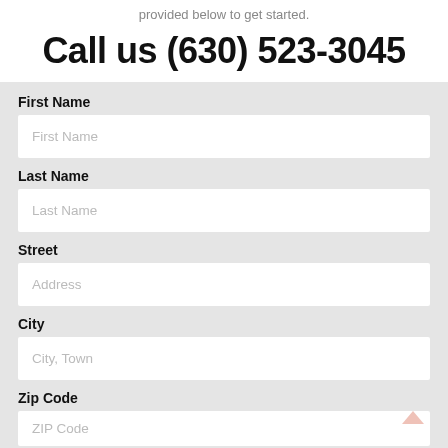provided below to get started.
Call us (630) 523-3045
First Name
Last Name
Street
City
Zip Code